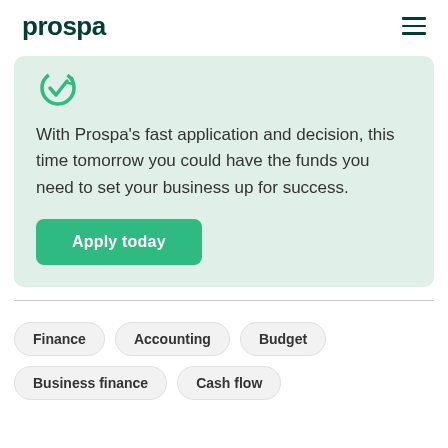prospa
[Figure (logo): Prospa logo - dark green wordmark]
With Prospa's fast application and decision, this time tomorrow you could have the funds you need to set your business up for success.
Apply today
Finance
Accounting
Budget
Business finance
Cash flow